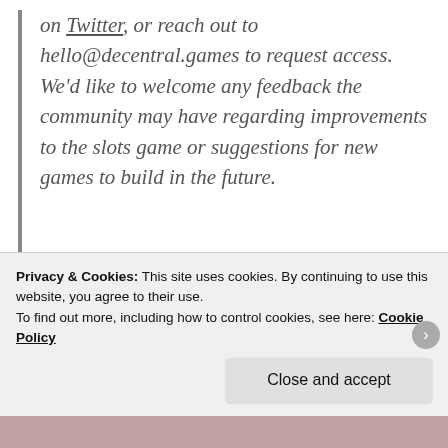on Twitter, or reach out to hello@decentral.games to request access. We'd like to welcome any feedback the community may have regarding improvements to the slots game or suggestions for new games to build in the future.
For more information on Decentral Games, here is their website. It would appear that the company is
Privacy & Cookies: This site uses cookies. By continuing to use this website, you agree to their use. To find out more, including how to control cookies, see here: Cookie Policy
Close and accept